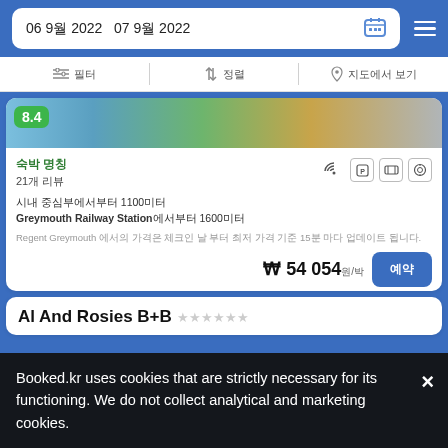06 9월 2022  07 9월 2022
필터  정렬기준  지도에서 보기
[Figure (photo): Hotel room/property photo with score badge 8.4]
숙박 명칭
21개 리뷰
시내 중심부에서부터 1100미터
Greymouth Railway Station에서부터 1600미터
Regent Greymouth 에서의 가격은 체크인 날 부터 최저 가격 기준 15분 마다 업데이트 됩니다.
₩ 54 054원/박
Al And Rosies B+B 고객리뷰보기
Booked.kr uses cookies that are strictly necessary for its functioning. We do not collect analytical and marketing cookies.